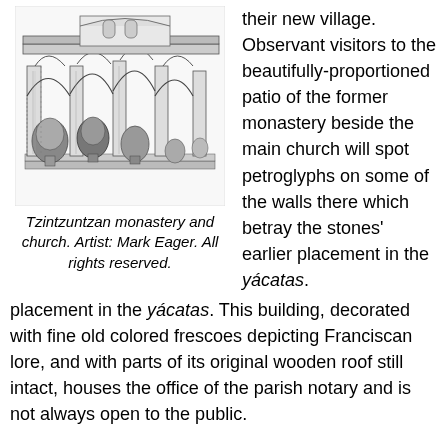[Figure (illustration): Black and white line drawing of Tzintzuntzan monastery and church, showing arched colonnades, courtyard with plants and foliage, architectural details.]
Tzintzuntzan monastery and church. Artist: Mark Eager. All rights reserved.
their new village. Observant visitors to the beautifully-proportioned patio of the former monastery beside the main church will spot petroglyphs on some of the walls there which betray the stones' earlier placement in the yácatas. This building, decorated with fine old colored frescoes depicting Franciscan lore, and with parts of its original wooden roof still intact, houses the office of the parish notary and is not always open to the public.
There are other peculiarities here, too, which say much for the realities of sixteenth century Spanish monastic life. When the monastery of Tzintzuntzan was built, two churches were constructed, one for the monks' private use and the other for the lay Third Order. These two churches, only a few steps apart,